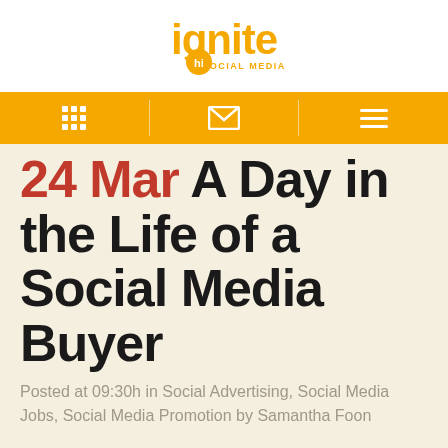[Figure (logo): Ignite Social Media logo — orange stylized text 'ignite' with 'hi' in a circle and 'SOCIAL MEDIA' below]
Navigation bar with grid, envelope, and hamburger menu icons
24 Mar A Day in the Life of a Social Media Buyer
Posted at 09:30h in Social Advertising, Social Media Jobs, Social Media Promotion by Samantha Foon
According to eMarketer, social network ad spending is increasing at a rapid rate. This year alone, over